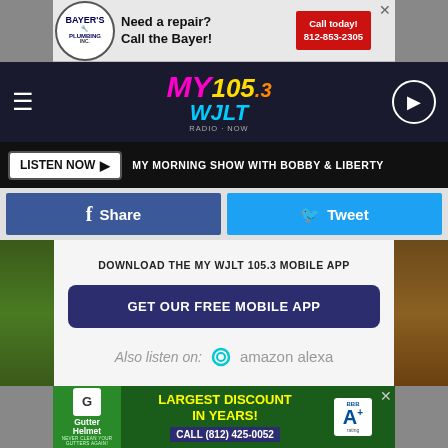[Figure (screenshot): Bayer's Plumbing advertisement banner: 'Need a repair? Call the Bayer!' with red 'Call today! 812-853-2305' button]
[Figure (logo): MY 105.3 WJLT radio station logo and navigation bar with hamburger menu and play button]
LISTEN NOW ▶  MY MORNING SHOW WITH BOBBY & LIBERTY
[Figure (infographic): Facebook Share and Twitter Tweet buttons row]
DOWNLOAD THE MY WJLT 105.3 MOBILE APP
GET OUR FREE MOBILE APP
Also listen on:  amazon alexa
[Figure (screenshot): Gutter Helmet advertisement: 'LARGEST DISCOUNT IN YEARS!' CALL (812) 425-0052, BBB A+ rating]